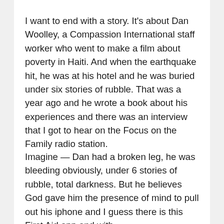I want to end with a story. It's about Dan Woolley, a Compassion International staff worker who went to make a film about poverty in Haiti. And when the earthquake hit, he was at his hotel and he was buried under six stories of rubble. That was a year ago and he wrote a book about his experiences and there was an interview that I got to hear on the Focus on the Family radio station.
Imagine — Dan had a broken leg, he was bleeding obviously, under 6 stories of rubble, total darkness. But he believes God gave him the presence of mind to pull out his iphone and I guess there is this First Aid app and with